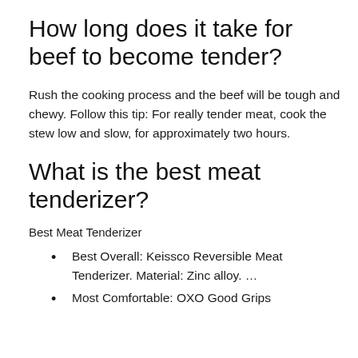How long does it take for beef to become tender?
Rush the cooking process and the beef will be tough and chewy. Follow this tip: For really tender meat, cook the stew low and slow, for approximately two hours.
What is the best meat tenderizer?
Best Meat Tenderizer
Best Overall: Keissco Reversible Meat Tenderizer. Material: Zinc alloy. …
Most Comfortable: OXO Good Grips